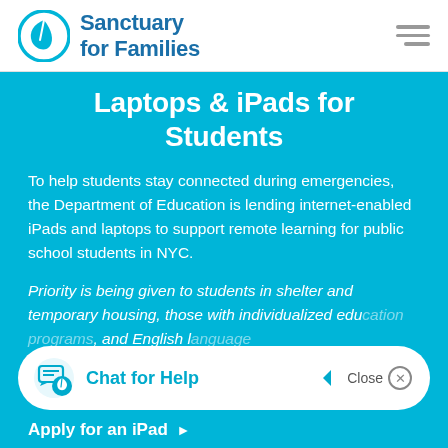[Figure (logo): Sanctuary for Families logo — circular teal icon with a leaf shape and organization name in dark blue bold text]
Laptops & iPads for Students
To help students stay connected during emergencies, the Department of Education is lending internet-enabled iPads and laptops to support remote learning for public school students in NYC.
Priority is being given to students in shelter and temporary housing, those with individualized education programs, and English language learners.
[Figure (screenshot): Chat for Help button widget at bottom of page with Sanctuary for Families icon and Close button]
Apply for an iPad →